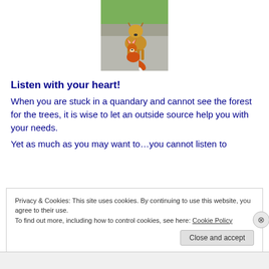[Figure (photo): Photo of a dog and a fox sitting together on a paved surface with green background]
Listen with your heart!
When you are stuck in a quandary and cannot see the forest for the trees, it is wise to let an outside source help you with your needs.
Yet as much as you may want to…you cannot listen to
Privacy & Cookies: This site uses cookies. By continuing to use this website, you agree to their use.
To find out more, including how to control cookies, see here: Cookie Policy